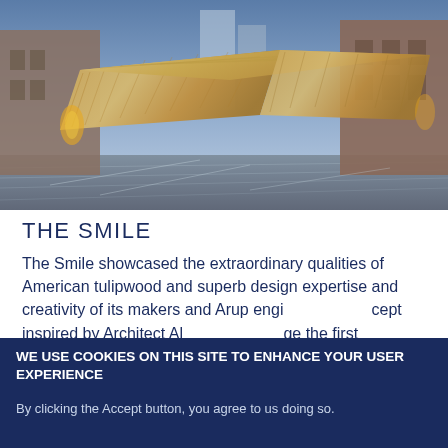[Figure (photo): Photograph of 'The Smile' architectural installation made of American tulipwood, a curved wooden structure in an urban plaza at dusk, with brick buildings and modern skyscrapers in the background.]
THE SMILE
The Smile showcased the extraordinary qualities of American tulipwood and superb design expertise and creativity of its makers and Arup engi [Privacy settings overlay] ept inspired by Architect Al... ge the first
WE USE COOKIES ON THIS SITE TO ENHANCE YOUR USER EXPERIENCE
By clicking the Accept button, you agree to us doing so.